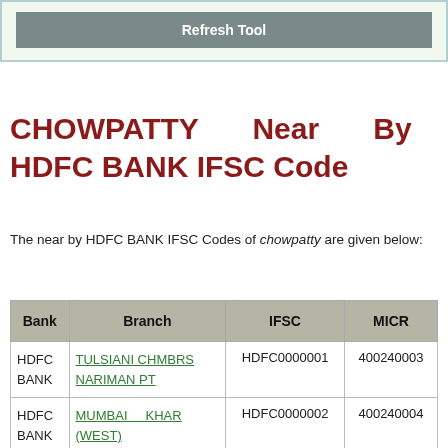[Figure (other): Refresh Tool button inside a light green bordered box]
CHOWPATTY Near By HDFC BANK IFSC Code
The near by HDFC BANK IFSC Codes of chowpatty are given below:
| Bank | Branch | IFSC | MICR |
| --- | --- | --- | --- |
| HDFC BANK | TULSIANI CHMBRS NARIMAN PT | HDFC0000001 | 400240003 |
| HDFC BANK | MUMBAI KHAR (WEST) | HDFC0000002 | 400240004 |
| HDFC BANK | MUMBAI BHULABHAI DESAI ROAD | HDFC0000005 | 400240005 |